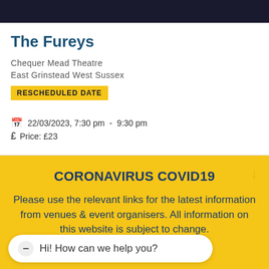The Fureys
Chequer Mead Theatre
East Grinstead West Sussex
RESCHEDULED DATE
22/03/2023, 7:30 pm - 9:30 pm
Price: £23
CORONAVIRUS COVID19
Please use the relevant links for the latest information from venues & event organisers. All information on this website is subject to change.